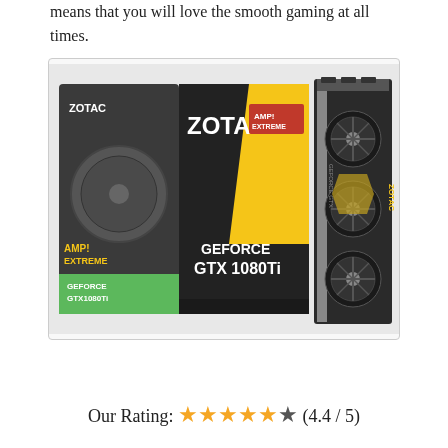means that you will love the smooth gaming at all times.
[Figure (photo): ZOTAC GeForce GTX 1080 Ti AMP Extreme Edition graphics card shown next to its retail box. The box is black and yellow with ZOTAC branding and GEFORCE GTX 1080Ti text. The card shows three large fans and a metallic backplate.]
Our Rating: ★★★★★☆ (4.4 / 5)